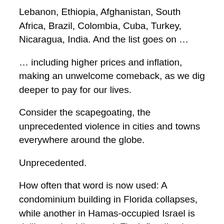Lebanon, Ethiopia, Afghanistan, South Africa, Brazil, Colombia, Cuba, Turkey, Nicaragua, India. And the list goes on …
… including higher prices and inflation, making an unwelcome comeback, as we dig deeper to pay for our lives.
Consider the scapegoating, the unprecedented violence in cities and towns everywhere around the globe.
Unprecedented.
How often that word is now used: A condominium building in Florida collapses, while another in Hamas-occupied Israel is deliberately obliterated. Flash flooding in New York and London put these cities under water, while more hurricanes approach, ever stronger and more furious.